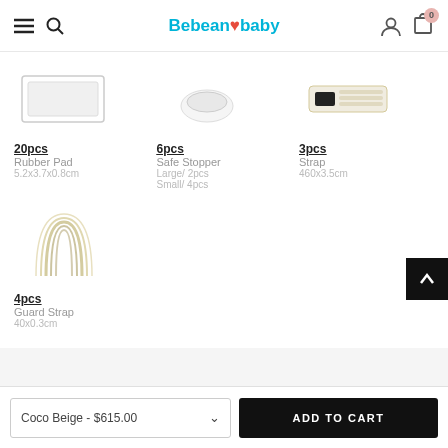Bebean baby
[Figure (photo): Product image: white rectangular rubber pad tray]
20pcs
Rubber Pad
5.2x3.7x0.8cm
[Figure (photo): Product image: white small bowl / safe stopper]
6pcs
Safe Stopper
Large/ 2pcs
Small/ 4pcs
[Figure (photo): Product image: cream/beige rolled strap]
3pcs
Strap
460x3.5cm
[Figure (photo): Product image: cream/beige guard strap loops]
4pcs
Guard Strap
40x0.3cm
Coco Beige - $615.00
ADD TO CART